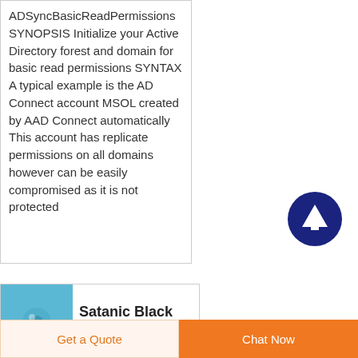ADSyncBasicReadPermissions SYNOPSIS Initialize your Active Directory forest and domain for basic read permissions SYNTAX A typical example is the AD Connect account MSOL created by AAD Connect automatically This account has replicate permissions on all domains however can be easily compromised as it is not protected
[Figure (illustration): Dark blue circular button with white upward arrow icon]
[Figure (illustration): Light blue square thumbnail image]
Satanic Black Masses at
Get a Quote
Chat Now